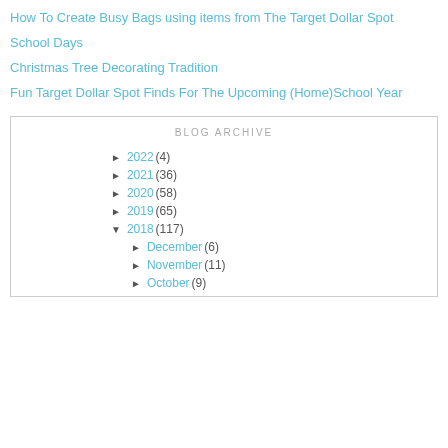How To Create Busy Bags using items from The Target Dollar Spot
School Days
Christmas Tree Decorating Tradition
Fun Target Dollar Spot Finds For The Upcoming (Home)School Year
BLOG ARCHIVE
► 2022 (4)
► 2021 (36)
► 2020 (58)
► 2019 (65)
▼ 2018 (117)
► December (6)
► November (11)
► October (9)